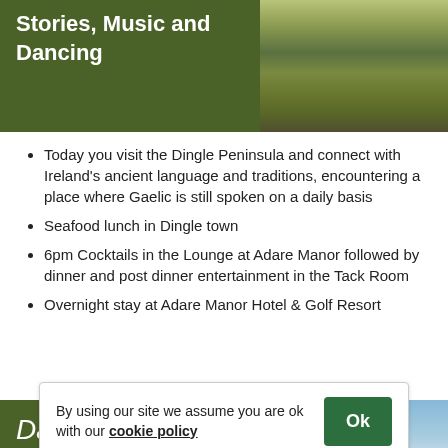Stories, Music and Dancing
[Figure (photo): Photo of green rocky cliffs with mossy stone surfaces]
Today you visit the Dingle Peninsula and connect with Ireland's ancient language and traditions, encountering a place where Gaelic is still spoken on a daily basis
Seafood lunch in Dingle town
6pm Cocktails in the Lounge at Adare Manor followed by dinner and post dinner entertainment in the Tack Room
Overnight stay at Adare Manor Hotel & Golf Resort
Day 7
Theme: Gracious Living – the Anglo – Irish legacy
[Figure (photo): Photo of a grand manor house (Adare Manor) with blue sky and green grounds]
By using our site we assume you are ok with our cookie policy